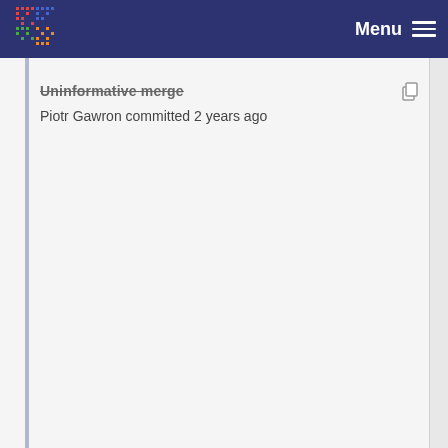Menu
Piotr Gawron committed 2 years ago